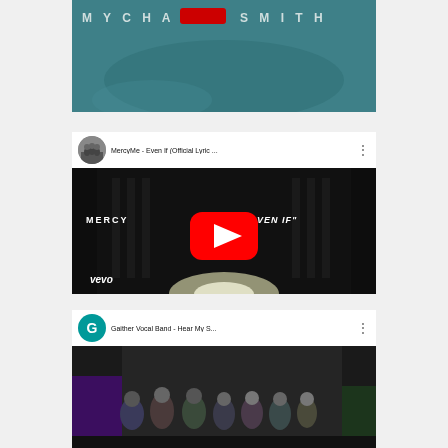[Figure (screenshot): Partial top image showing 'MICHAEL SMITH' text with a red bar/logo element on a teal background, partially cropped at top]
[Figure (screenshot): YouTube video thumbnail for 'MercyMe - Even If (Official Lyric ...' showing a dark concert hall stage with play button overlay, MercyMe and 'VEN IF' text visible, vevo watermark, with YouTube header showing channel avatar and title]
[Figure (screenshot): YouTube video thumbnail for 'Gaither Vocal Band - Hear My S...' showing a group of people in a studio/stage setting with purple lighting accent, with YouTube header showing teal G avatar and title]